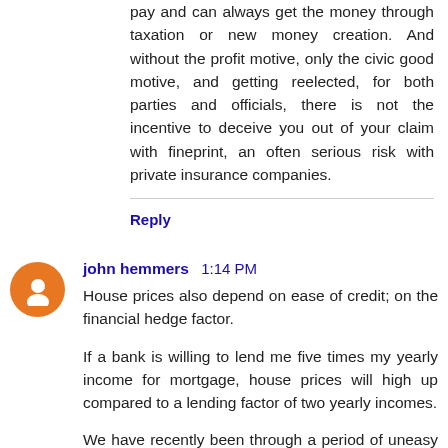pay and can always get the money through taxation or new money creation. And without the profit motive, only the civic good motive, and getting reelected, for both parties and officials, there is not the incentive to deceive you out of your claim with fineprint, an often serious risk with private insurance companies.
Reply
john hemmers  1:14 PM
House prices also depend on ease of credit; on the financial hedge factor.
If a bank is willing to lend me five times my yearly income for mortgage, house prices will high up compared to a lending factor of two yearly incomes.
We have recently been through a period of uneasy feelings towards easy credit; and house prices responded.